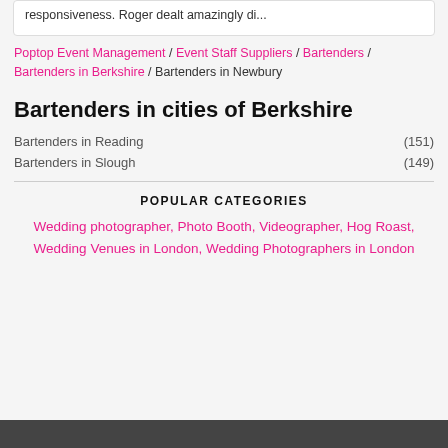responsiveness. Roger dealt amazingly di...
Poptop Event Management / Event Staff Suppliers / Bartenders / Bartenders in Berkshire / Bartenders in Newbury
Bartenders in cities of Berkshire
Bartenders in Reading (151)
Bartenders in Slough (149)
POPULAR CATEGORIES
Wedding photographer, Photo Booth, Videographer, Hog Roast, Wedding Venues in London, Wedding Photographers in London